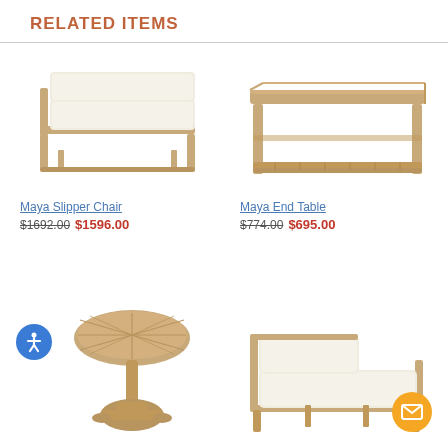RELATED ITEMS
[Figure (photo): Maya Slipper Chair - wooden armless lounge chair with white cushion]
Maya Slipper Chair
$1692.00 $1596.00
[Figure (photo): Maya End Table - rectangular teak coffee table with lower shelf]
Maya End Table
$774.00 $695.00
[Figure (photo): Round teak pedestal side table]
[Figure (photo): Outdoor chaise lounge with white cushion and teak frame]